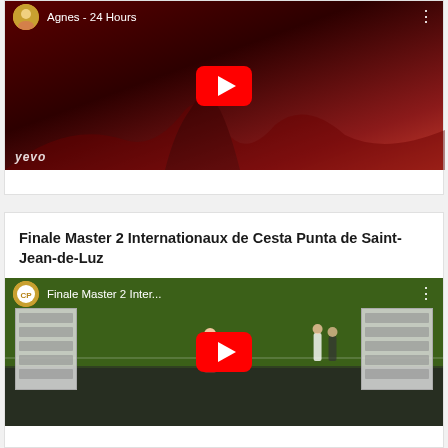[Figure (screenshot): YouTube video thumbnail for 'Agnes - 24 Hours' with a red-toned background showing a dancer silhouette, play button, VEVO watermark, and channel avatar]
Finale Master 2 Internationaux de Cesta Punta de Saint-Jean-de-Luz
[Figure (screenshot): YouTube video thumbnail for 'Finale Master 2 Inter...' showing a jai alai / cesta punta sports court with scoreboards and crowd, play button visible]